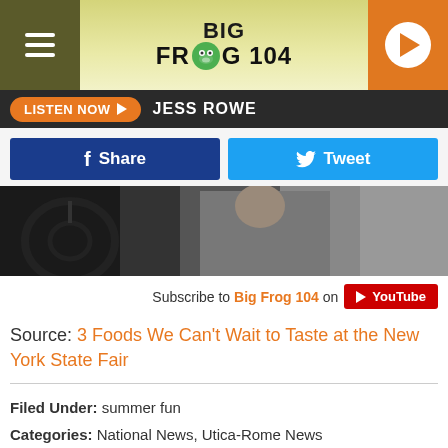BIG FROG 104
LISTEN NOW  JESS ROWE
Share  Tweet
[Figure (photo): Person driving a car, view through open window]
Subscribe to Big Frog 104 on YouTube
Source: 3 Foods We Can't Wait to Taste at the New York State Fair
Filed Under: summer fun
Categories: National News, Utica-Rome News
Comments
LEAVE A COMMENT